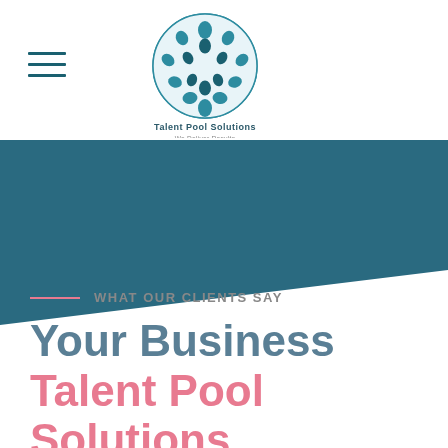[Figure (logo): Talent Pool Solutions globe logo with human figure icons arranged in sphere shape, teal and white colors, with text 'Talent Pool Solutions - We Deliver Results' below]
[Figure (illustration): Dark teal diagonal banner/wave shape spanning full width, angled downward from left to right]
WHAT OUR CLIENTS SAY
Your Business Talent Pool Solutions